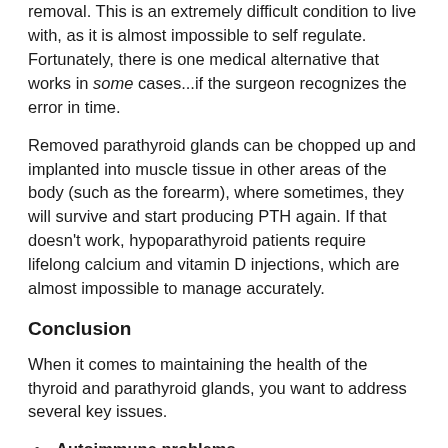removal. This is an extremely difficult condition to live with, as it is almost impossible to self regulate. Fortunately, there is one medical alternative that works in some cases...if the surgeon recognizes the error in time.
Removed parathyroid glands can be chopped up and implanted into muscle tissue in other areas of the body (such as the forearm), where sometimes, they will survive and start producing PTH again. If that doesn't work, hypoparathyroid patients require lifelong calcium and vitamin D injections, which are almost impossible to manage accurately.
Conclusion
When it comes to maintaining the health of the thyroid and parathyroid glands, you want to address several key issues.
Autoimmune problems
By using immunomodulators such as L-carnosine,